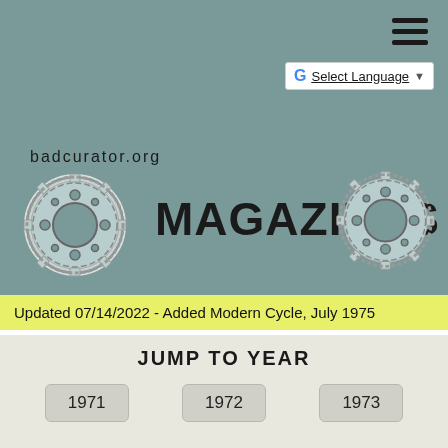[Figure (logo): Hamburger menu icon (three horizontal lines) in top-right corner]
[Figure (screenshot): Google Translate widget with 'G' logo and 'Select Language' dropdown button]
badcurator.org
[Figure (illustration): Sprocket/gear icon on the left side of the header]
MAGAZINES
[Figure (illustration): Sprocket/gear icon on the right side of the header]
Updated 07/14/2022 - Added Modern Cycle, July 1975
JUMP TO YEAR
1971
1972
1973